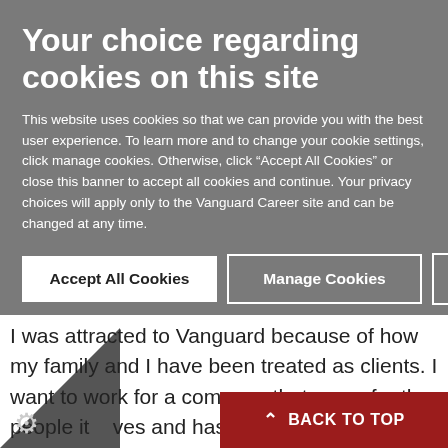Your choice regarding cookies on this site
This website uses cookies so that we can provide you with the best user experience. To learn more and to change your cookie settings, click manage cookies. Otherwise, click “Accept All Cookies” or close this banner to accept all cookies and continue. Your privacy choices will apply only to the Vanguard Career site and can be changed at any time.
Accept All Cookies
Manage Cookies
I was attracted to Vanguard because of how my family and I have been treated as clients. I want to work for a company that cares for the people it serves and has a strong sens… it serves. – Ryan M.
BACK TO TOP